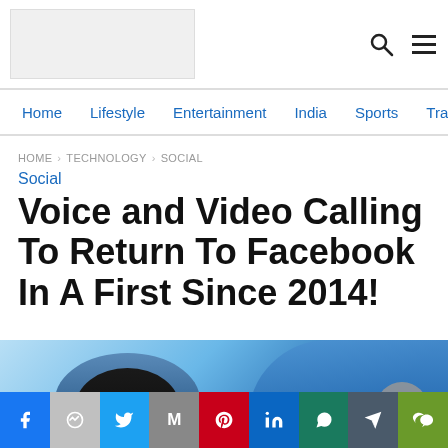[Figure (logo): Website logo placeholder (light gray rectangle)]
Home · Lifestyle · Entertainment · India · Sports · Travel
HOME › TECHNOLOGY › SOCIAL
Social
Voice and Video Calling To Return To Facebook In A First Since 2014!
[Figure (photo): Partial photo showing a person's head and a blue circular Facebook-like logo background, with a scroll-to-top button overlay]
[Figure (infographic): Social media share bar with icons: Facebook, Messenger, Twitter, Gmail, Pinterest, LinkedIn, WhatsApp, Telegram, WeChat]